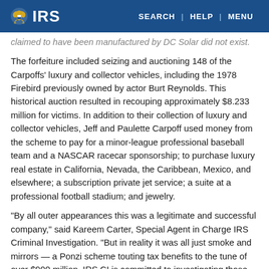IRS | SEARCH | HELP | MENU
claimed to have been manufactured by DC Solar did not exist.
The forfeiture included seizing and auctioning 148 of the Carpoffs' luxury and collector vehicles, including the 1978 Firebird previously owned by actor Burt Reynolds. This historical auction resulted in recouping approximately $8.233 million for victims. In addition to their collection of luxury and collector vehicles, Jeff and Paulette Carpoff used money from the scheme to pay for a minor-league professional baseball team and a NASCAR racecar sponsorship; to purchase luxury real estate in California, Nevada, the Caribbean, Mexico, and elsewhere; a subscription private jet service; a suite at a professional football stadium; and jewelry.
"By all outer appearances this was a legitimate and successful company," said Kareem Carter, Special Agent in Charge IRS Criminal Investigation. "But in reality it was all just smoke and mirrors — a Ponzi scheme touting tax benefits to the tune of over $900 million. IRS CI is committed to investigating those who take advantage and impact the financial well-being of others for their own personal gain."